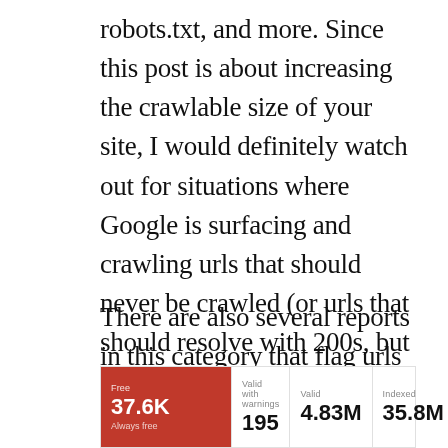robots.txt, and more. Since this post is about increasing the crawlable size of your site, I would definitely watch out for situations where Google is surfacing and crawling urls that should never be crawled (or urls that should resolve with 200s, but don't for some reason).
There are also several reports in this category that flag urls being submitted in xml sitemaps that don't resolve correctly. Definitely dig in there to see what's going on.
[Figure (infographic): A stats widget bar showing: Free 37.6K (red background), Valid with warnings 195, Valid 4.83M, Indexed 35.8M]